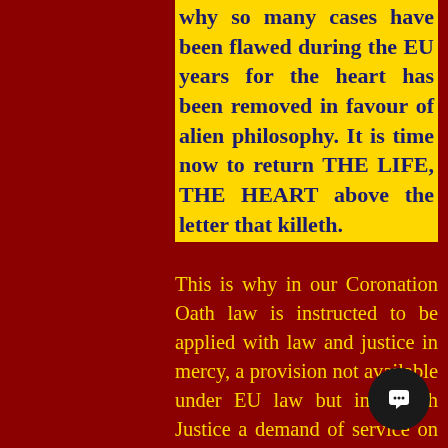why so many cases have been flawed during the EU years for the heart has been removed in favour of alien philosophy. It is time now to return THE LIFE, THE HEART above the letter that killeth.
This is why in our Coronation Oath law is instructed to be applied with law and justice in mercy, a provision not available under EU law but in British Justice a demand of service on all judges, our judges and other government services being bound by law rather than the liberty of the Spirit, the heart which by law they are bound to move by. It is this that has changed since EU membership and it will take a time of de-programming to bring our nation back to its root of